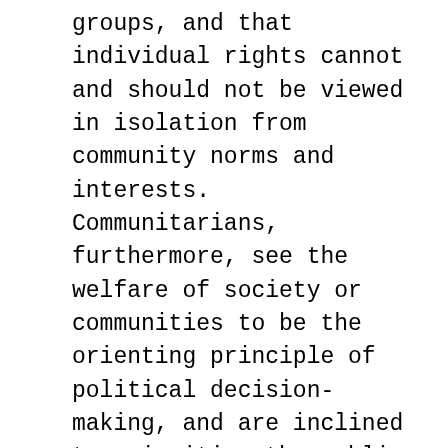groups, and that individual rights cannot and should not be viewed in isolation from community norms and interests. Communitarians, furthermore, see the welfare of society or communities to be the orienting principle of political decision-making, and are inclined to prioritise the public interest over the preservation of the liberties of individual citizens. Notable communitarian thinkers include Princeton philosopher Michael Waltzer and Harvard political theorist Michael Sandel (though Sandel is somewhat reluctant to identify as a communitarian).